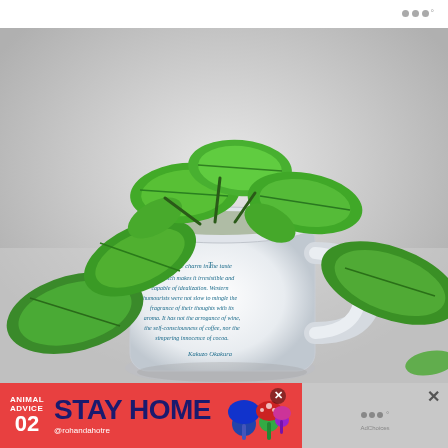...°
[Figure (photo): A white ceramic mug used as a planter, filled with lush green basil plants with large leaves. The mug has a printed quote from Kakuzo Okakura about tea, written in blue italic text. The mug sits on a light surface with a blurred background.]
[Figure (infographic): Advertisement banner in red with text 'ANIMAL ADVICE 02 STAY HOME @rohandahotre' alongside colorful mushroom/creature illustrations, and a close button. Right side shows a gray ad placeholder with dots icon and close button.]